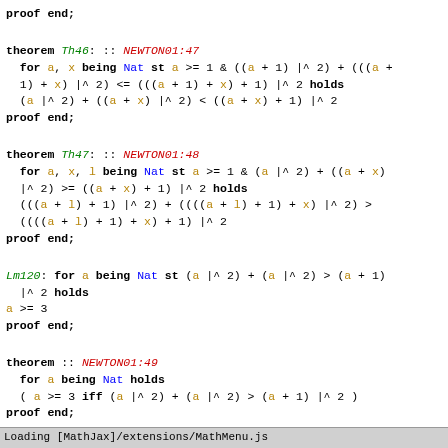proof end;
theorem Th46: :: NEWTON01:47
  for a, x being Nat st a >= 1 & ((a + 1) |^ 2) + (((a + 1) + x) |^ 2) <= (((a + 1) + x) + 1) |^ 2 holds
  (a |^ 2) + ((a + x) |^ 2) < ((a + x) + 1) |^ 2
proof end;
theorem Th47: :: NEWTON01:48
  for a, x, l being Nat st a >= 1 & (a |^ 2) + ((a + x) |^ 2) >= ((a + x) + 1) |^ 2 holds
  (((a + l) + 1) |^ 2) + ((((a + l) + 1) + x) |^ 2) >
  ((((a + l) + 1) + x) + 1) |^ 2
proof end;
Lm120: for a being Nat st (a |^ 2) + (a |^ 2) > (a + 1) |^ 2 holds
a >= 3
proof end;
theorem :: NEWTON01:49
  for a being Nat holds
  ( a >= 3 iff (a |^ 2) + (a |^ 2) > (a + 1) |^ 2 )
proof end;
theorem :: NEWTON01:50
  for m being Nat holds (2 |^ (3 + m)) + (2 |^ (3 + m)) <
  3 |^ (3 + m)
proof end:
Loading [MathJax]/extensions/MathMenu.js